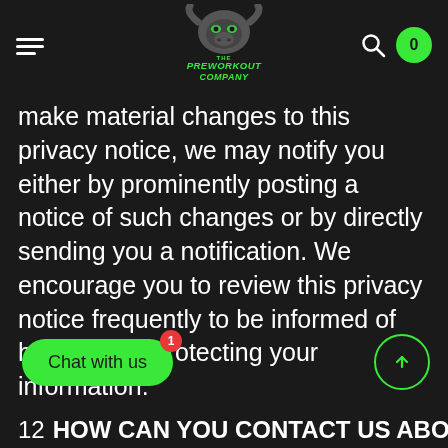[Figure (logo): The PreWorkout Company logo — a buffalo/gorilla mascot in gray with green glowing eyes, green text reading 'THE PREWORKOUT COMPANY']
make material changes to this privacy notice, we may notify you either by prominently posting a notice of such changes or by directly sending you a notification. We encourage you to review this privacy notice frequently to be informed of how we are protecting your information.
12 HOW CAN YOU CONTACT US ABOUT THIS